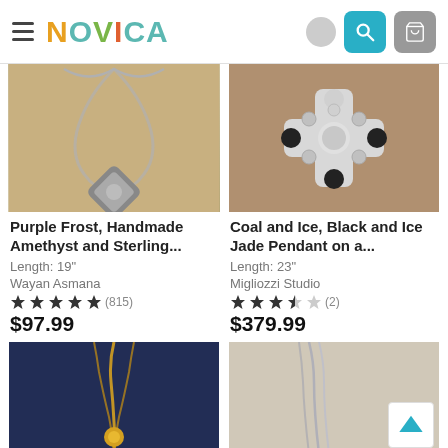NOVICA
[Figure (photo): Silver necklace with diamond-shaped amethyst and sterling silver pendant on wooden background]
[Figure (photo): Black jade and ice cross pendant with dark beads on tan background]
Purple Frost, Handmade Amethyst and Sterling...
Length: 19"
Wayan Asmana
★★★★★ (815)
$97.99
Coal and Ice, Black and Ice Jade Pendant on a...
Length: 23"
Migliozzi Studio
★★★½☆ (2)
$379.99
[Figure (photo): Gold chain necklace with pendant on dark blue background]
[Figure (photo): Silver chain necklace on beige background with scroll-to-top button overlay]